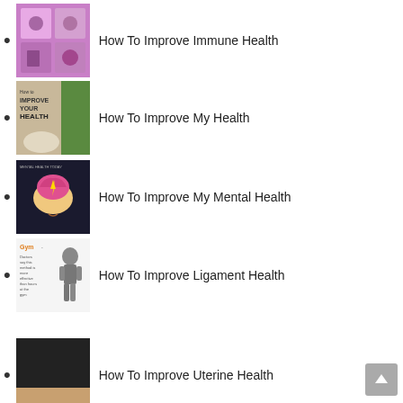How To Improve Immune Health
How To Improve My Health
How To Improve My Mental Health
How To Improve Ligament Health
How To Improve Uterine Health